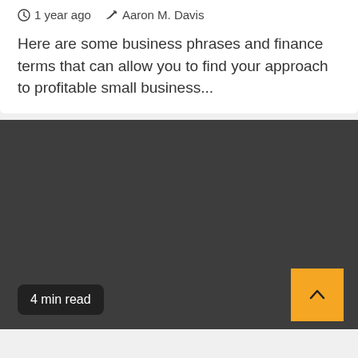1 year ago   Aaron M. Davis
Here are some business phrases and finance terms that can allow you to find your approach to profitable small business...
[Figure (other): Dark gray section / banner area with a '4 min read' badge and a yellow scroll-to-top button with an upward chevron arrow]
4 min read